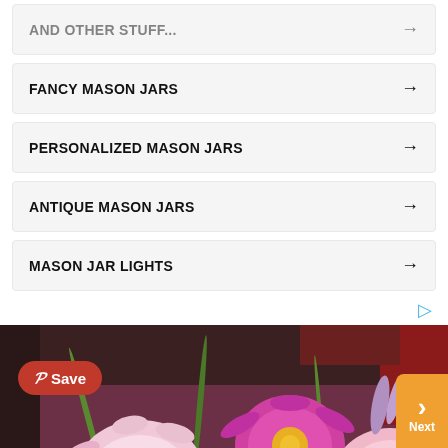FANCY MASON JARS →
PERSONALIZED MASON JARS →
ANTIQUE MASON JARS →
MASON JAR LIGHTS →
[Figure (photo): Close-up photo of colorful flowers (pink and magenta daisies/chrysanthemums) with a Save button overlay and Next navigation button. Pinterest-style UI.]
Search for
1  TOP 10 WALL PAINT COLORS ▶
2  LANDSCAPE FRONT YARD DESIGNS ▶